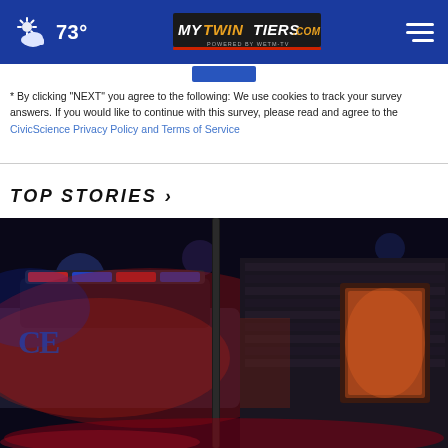73° | MyTwinTiers.com | Menu
* By clicking "NEXT" you agree to the following: We use cookies to track your survey answers. If you would like to continue with this survey, please read and agree to the CivicScience Privacy Policy and Terms of Service
TOP STORIES ›
[Figure (photo): Night scene showing a police car with flashing red and blue lights, dramatic dark background with bokeh light effects, exterior of a building visible on the right]